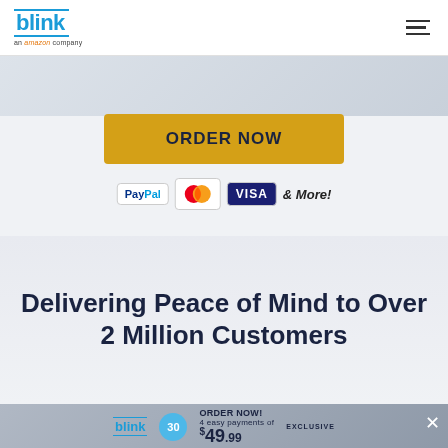blink an amazon company
[Figure (screenshot): Partial product image strip at top of page]
ORDER NOW
[Figure (infographic): Payment options: PayPal, Mastercard, Visa & More!]
Delivering Peace of Mind to Over 2 Million Customers
[Figure (screenshot): Promotional popup: blink ORDER NOW! 4 easy payments of $49.99 EXCLUSIVE]